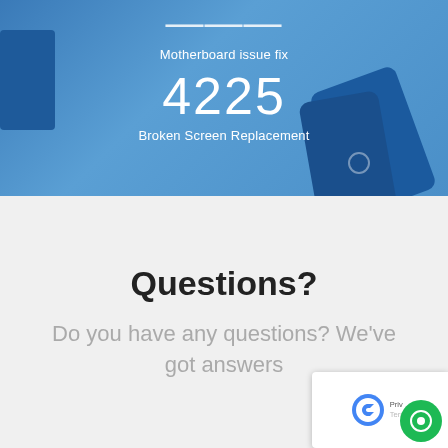[Figure (photo): Blue background with phone device props. Shows partial number at top (cropped), text 'Motherboard issue fix', number '4225', text 'Broken Screen Replacement'. Blue geometric block on left and dark blue phone shapes on right.]
Questions?
Do you have any questions? We've got answers